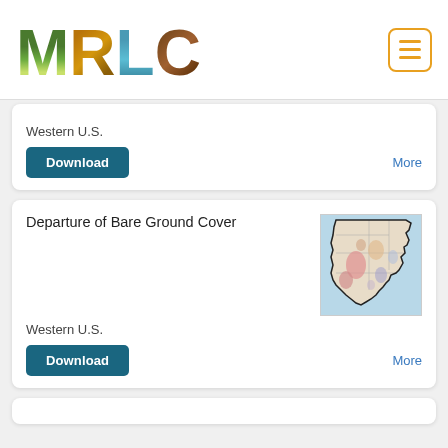[Figure (logo): MRLC logo with nature-themed letters and hamburger menu button]
Western U.S.
Download
More
Departure of Bare Ground Cover
[Figure (map): Map thumbnail showing western United States with colored regions]
Western U.S.
Download
More